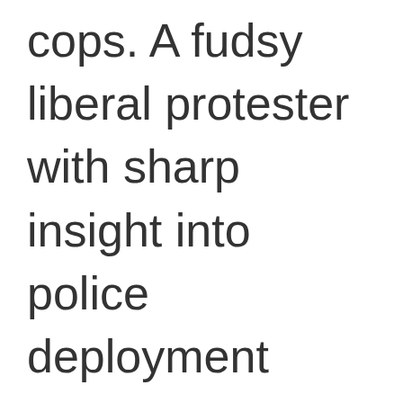cops. A fudsy liberal protester with sharp insight into police deployment strategy. A skinny child in a yellow